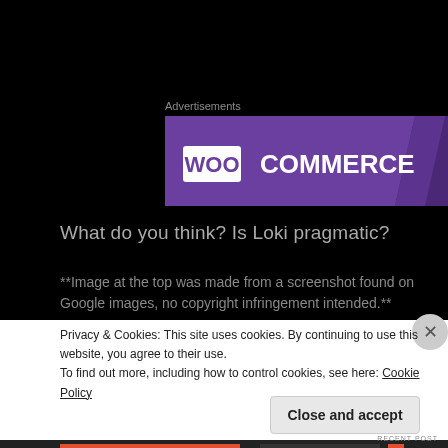[Figure (screenshot): WooCommerce advertisement banner with purple background and WooCommerce logo]
Advertisements
What do you think?  Is Loki pragmatic?
**Image at the top was made from a screenshot found on Google images, no copyright infringement intended.**
Privacy & Cookies: This site uses cookies. By continuing to use this website, you agree to their use.
To find out more, including how to control cookies, see here: Cookie Policy
Close and accept